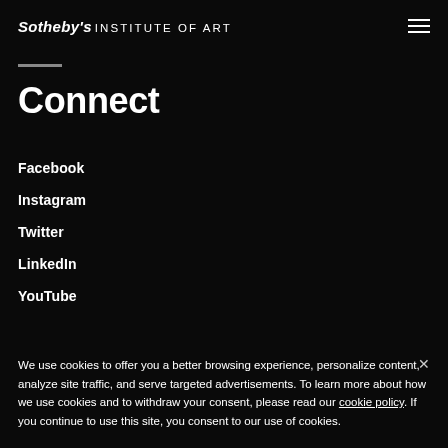Sotheby's INSTITUTE OF ART
Connect
Facebook
Instagram
Twitter
LinkedIn
YouTube
We use cookies to offer you a better browsing experience, personalize content, analyze site traffic, and serve targeted advertisements. To learn more about how we use cookies and to withdraw your consent, please read our cookie policy. If you continue to use this site, you consent to our use of cookies.